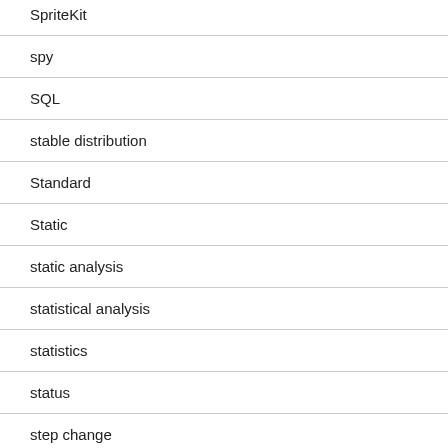SpriteKit
spy
SQL
stable distribution
Standard
Static
static analysis
statistical analysis
statistics
status
step change